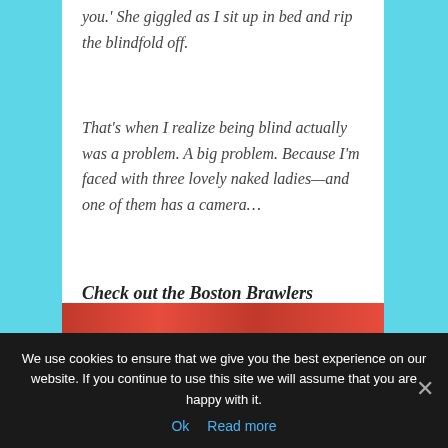you.' She giggled as I sit up in bed and rip the blindfold off.
That's when I realize being blind actually was a problem. A big problem. Because I'm faced with three lovely naked ladies—and one of them has a camera…
Check out the Boston Brawlers hockey romance series today.
[Figure (photo): Book covers strip at bottom of content card, partially visible, showing red/pink romance novel covers]
We use cookies to ensure that we give you the best experience on our website. If you continue to use this site we will assume that you are happy with it.
Ok   Read more